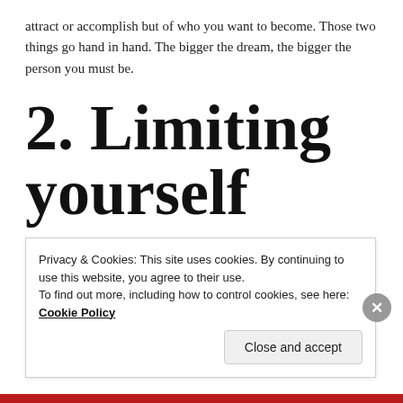attract or accomplish but of who you want to become. Those two things go hand in hand. The bigger the dream, the bigger the person you must be.
2. Limiting yourself
Setting you intentions and goals small will only bring
Privacy & Cookies: This site uses cookies. By continuing to use this website, you agree to their use.
To find out more, including how to control cookies, see here: Cookie Policy
Close and accept